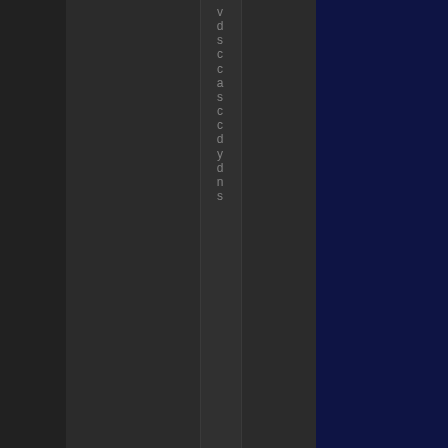v d s c c a s c c d y d n s
Both they had kids because they liked the idea of having a family